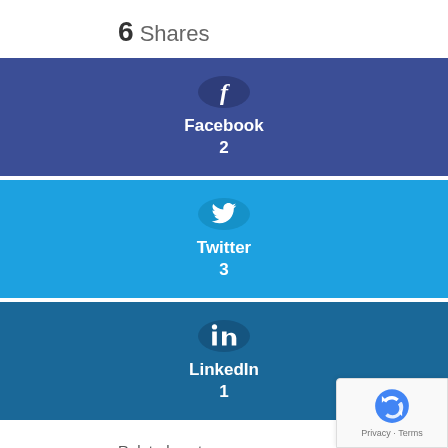6 Shares
[Figure (infographic): Facebook share button showing 2 shares — dark blue/indigo block with Facebook circle icon and label 'Facebook' and count '2']
[Figure (infographic): Twitter share button showing 3 shares — bright blue block with Twitter bird icon and label 'Twitter' and count '3']
[Figure (infographic): LinkedIn share button showing 1 share — dark teal/blue block with LinkedIn 'in' icon and label 'LinkedIn' and count '1']
Related posts: